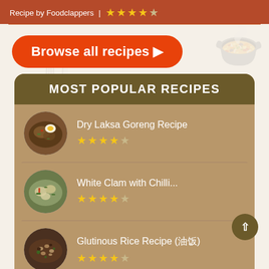Recipe by Foodclappers | ★★★★☆
Browse all recipes ▶
MOST POPULAR RECIPES
Dry Laksa Goreng Recipe ★★★★☆
White Clam with Chilli... ★★★★☆
Glutinous Rice Recipe (油饭) ★★★★☆